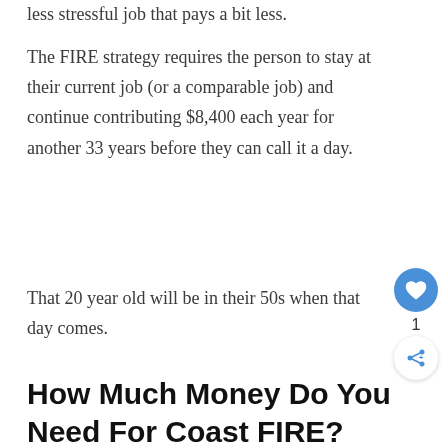less stressful job that pays a bit less.
The FIRE strategy requires the person to stay at their current job (or a comparable job) and continue contributing $8,400 each year for another 33 years before they can call it a day.
That 20 year old will be in their 50s when that day comes.
How Much Money Do You Need For Coast FIRE?